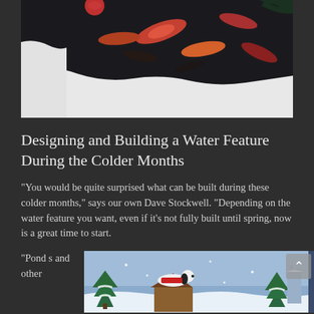[Figure (photo): Aerial view of a koi pond in winter with colorful fish (red, orange) visible through dark water, surrounded by snow along the edges]
Designing and Building a Water Feature During the Colder Months
“You would be quite surprised what can be built during these colder months,” says our own Dave Stockwell. “Depending on the water feature you want, even if it’s not fully built until spring, now is a great time to start.
“Pond s and other
[Figure (illustration): Winter scene cartoon/illustration showing a snowy landscape with a dog lying on top of a dog house, Christmas trees, and snow falling]